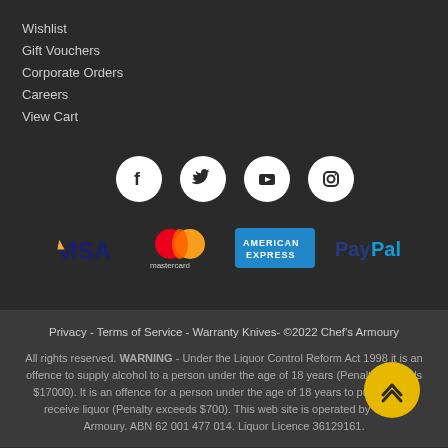Wishlist
Gift Vouchers
Corporate Orders
Careers
View Cart
[Figure (illustration): Social media icons: Facebook, Twitter, YouTube, Instagram in white circles on dark background]
[Figure (illustration): Payment method logos: Visa, Mastercard, American Express, PayPal]
Privacy - Terms of Service - Warranty Knives- ©2022 Chef's Armoury
All rights reserved. WARNING - Under the Liquor Control Reform Act 1998 it is an offence to supply alcohol to a person under the age of 18 years (Penalty Exceeds $17000). It is an offence for a person under the age of 18 years to purchase or receive liquor (Penalty exceeds $700). This web site is operated by Chef's Armoury. ABN 62 001 477 014. Liquor Licence 36129161.